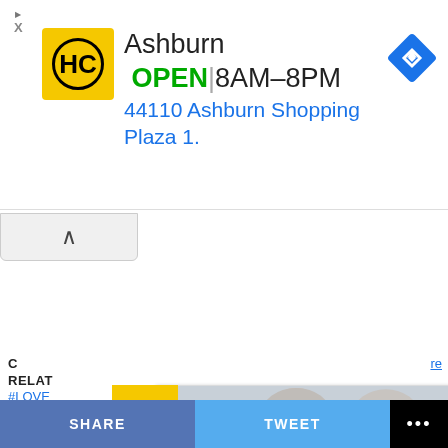[Figure (screenshot): Top banner advertisement for a hardware/home improvement store (HC logo) showing Ashburn location, OPEN, hours 8AM-8PM, address 44110 Ashburn Shopping Plaza 1., with navigation arrow icon and small ad disclosure icons]
[Figure (screenshot): Collapse/caret button UI element in light gray]
C
re
RELAT
#LOVE
#WED
UP NEX
'I wi
[Figure (screenshot): Popup advertisement overlay for Tribute at Black Hill assisted living and memory care. Contains photo of two elderly women embracing and smiling, text 'It's more than just care, it's connection.', blue bar with 'ASSISTED LIVING & MEMORY CARE', and 'Discover more at Tribute at Black Hill.' with logo and orange CTA button. Yellow X close button in upper left corner.]
SHARE
TWEET
...